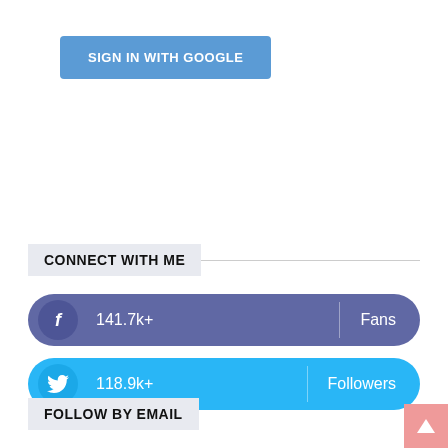[Figure (screenshot): Blue 'SIGN IN WITH GOOGLE' button]
CONNECT WITH ME
f  141.7k+  Fans
🐦  118.9k+  Followers
FOLLOW BY EMAIL